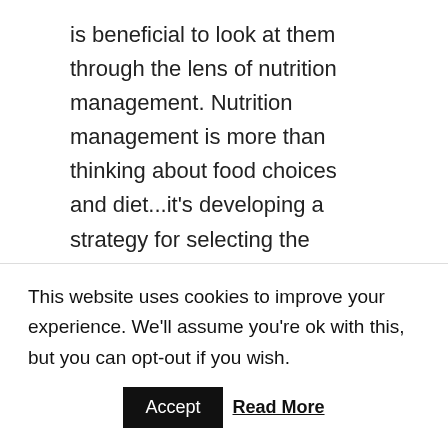is beneficial to look at them through the lens of nutrition management. Nutrition management is more than thinking about food choices and diet...it's developing a strategy for selecting the appropriate foods for your body and lifestyle. The body is like the recipe for a favorite food. Specific ingredients are required proportioned in their relationship to one another in order to produce a well-rounded, fine tasting finished dish. If the proportions are incorrect, an ingredient is mistakenly omitted or added, the end product will not be as expected. So it is with our
This website uses cookies to improve your experience. We'll assume you're ok with this, but you can opt-out if you wish. Accept Read More